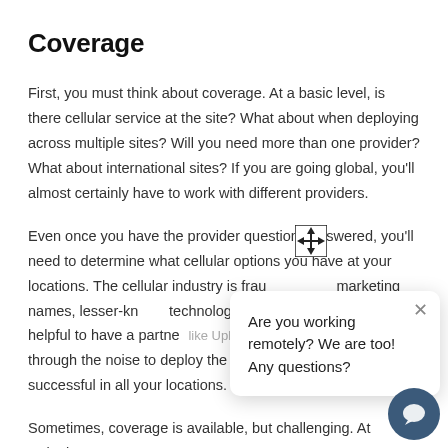Coverage
First, you must think about coverage. At a basic level, is there cellular service at the site? What about when deploying across multiple sites? Will you need more than one provider? What about international sites? If you are going global, you'll almost certainly have to work with different providers.
Even once you have the provider questions answered, you'll need to determine what cellular options you have at your locations. The cellular industry is fraught with marketing names, lesser-known technologies. 5G, 4G, LTE, B... it's helpful to have a partner like Uplogix that can help you cut through the noise to deploy the right cellular modems to be successful in all your locations.
Sometimes, coverage is available, but challenging. At Uplogix